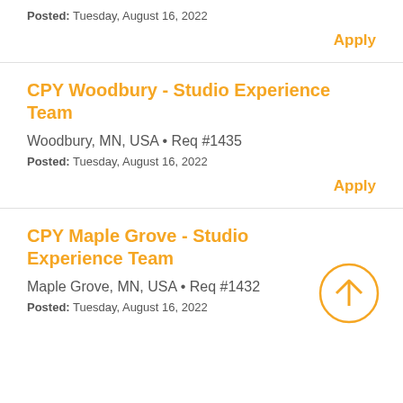Posted: Tuesday, August 16, 2022
Apply
CPY Woodbury - Studio Experience Team
Woodbury, MN, USA • Req #1435
Posted: Tuesday, August 16, 2022
Apply
CPY Maple Grove - Studio Experience Team
Maple Grove, MN, USA • Req #1432
Posted: Tuesday, August 16, 2022